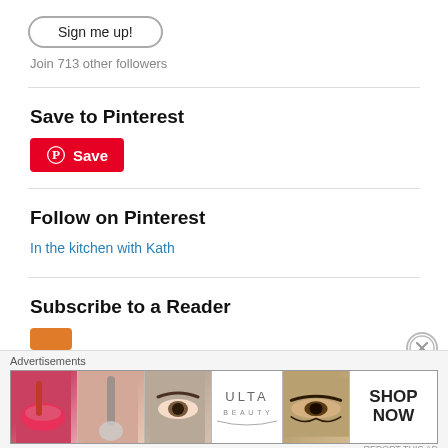[Figure (other): Sign me up button — rounded rectangle button with grey border]
Join 713 other followers
Save to Pinterest
[Figure (other): Red Pinterest Save button with Pinterest circle logo icon and text 'Save']
Follow on Pinterest
In the kitchen with Kath
Subscribe to a Reader
[Figure (other): Orange RSS subscribe button (partial, cut off at bottom)]
[Figure (other): Ulta Beauty advertisement banner with beauty/makeup photos and SHOP NOW text]